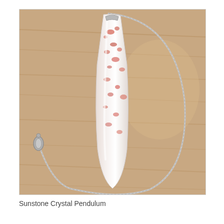[Figure (photo): A Sunstone Crystal Pendulum with a silver chain on a wooden surface. The crystal is a white/translucent elongated tapered shape with reddish-orange speckled inclusions. A silver curb chain is attached to the top and loops around to the left side where a lobster clasp is visible.]
Sunstone Crystal Pendulum